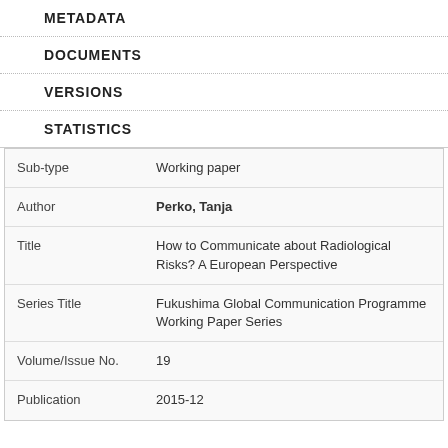METADATA
DOCUMENTS
VERSIONS
STATISTICS
| Field | Value |
| --- | --- |
| Sub-type | Working paper |
| Author | Perko, Tanja |
| Title | How to Communicate about Radiological Risks? A European Perspective |
| Series Title | Fukushima Global Communication Programme Working Paper Series |
| Volume/Issue No. | 19 |
| Publication | 2015-12 |